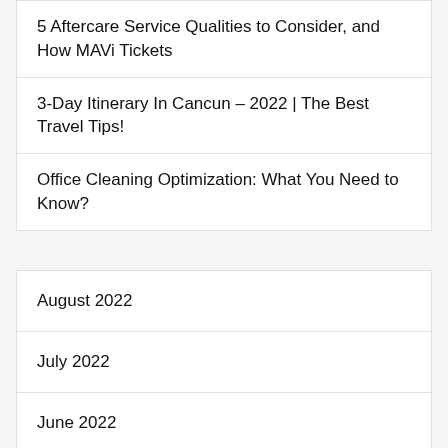5 Aftercare Service Qualities to Consider, and How MAVi Tickets
3-Day Itinerary In Cancun – 2022 | The Best Travel Tips!
Office Cleaning Optimization: What You Need to Know?
August 2022
July 2022
June 2022
May 2022